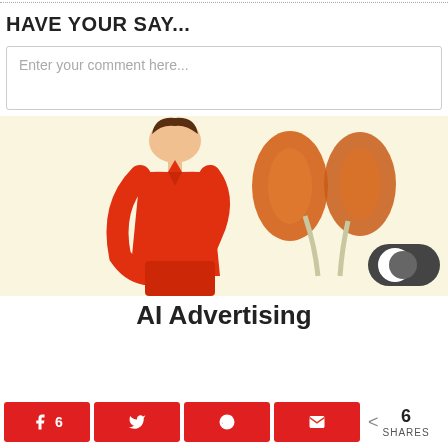HAVE YOUR SAY...
Enter your comment here...
[Figure (illustration): Illustration of a person in a red shirt holding their back in pain, with a diagram of kidneys shown to the right, on a light yellow background.]
AI Advertising
6 SHARES (Facebook: 6, Twitter, Reddit, Email share buttons)